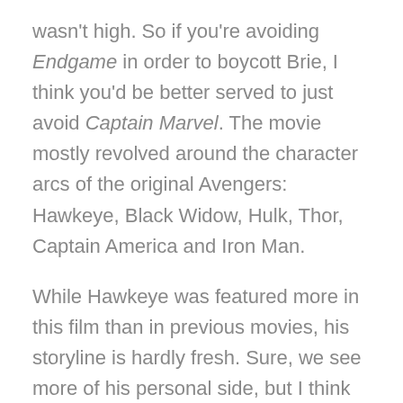wasn't high. So if you're avoiding Endgame in order to boycott Brie, I think you'd be better served to just avoid Captain Marvel. The movie mostly revolved around the character arcs of the original Avengers: Hawkeye, Black Widow, Hulk, Thor, Captain America and Iron Man.
While Hawkeye was featured more in this film than in previous movies, his storyline is hardly fresh. Sure, we see more of his personal side, but I think his character suffers a little too much from common tropes.
We see slightly more emotion from Black Widow, who recognizes the Avengers are her family, and